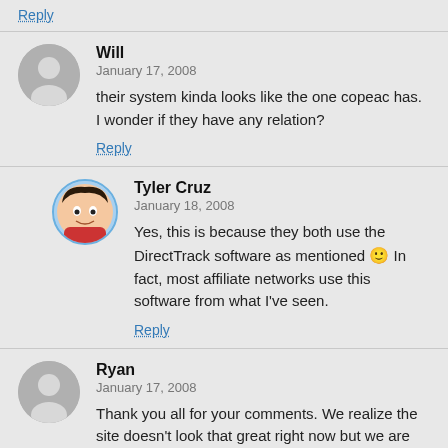Reply
Will
January 17, 2008
their system kinda looks like the one copeac has. I wonder if they have any relation?
Reply
Tyler Cruz
January 18, 2008
Yes, this is because they both use the DirectTrack software as mentioned 🙂 In fact, most affiliate networks use this software from what I've seen.
Reply
Ryan
January 17, 2008
Thank you all for your comments. We realize the site doesn't look that great right now but we are looking to remodel it some time soon. If you guys have any